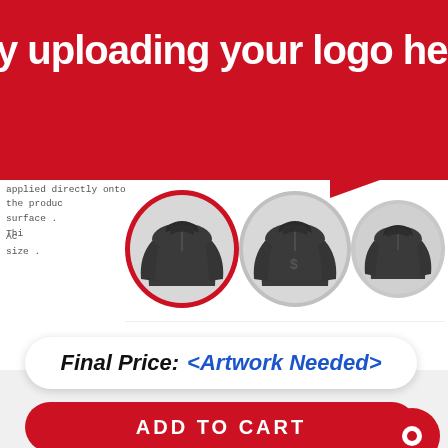y uploading your logo here
Your design is applied directly onto the product surface. Thi...
Ac... size ...
[Figure (screenshot): Three circular jacket product images in a row. The first (left) has a red border indicating it is selected. The other two have gray borders.]
Final Price: <Artwork Needed>
ADD TO CART
UPLOAD SIDE DESIGN